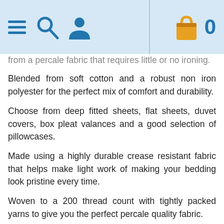Navigation header with menu, search, user icons and shopping cart showing 0 items
from a percale fabric that requires little or no ironing.
Blended from soft cotton and a robust non iron polyester for the perfect mix of comfort and durability.
Choose from deep fitted sheets, flat sheets, duvet covers, box pleat valances and a good selection of pillowcases.
Made using a highly durable crease resistant fabric that helps make light work of making your bedding look pristine every time.
Woven to a 200 thread count with tightly packed yarns to give you the perfect percale quality fabric.
The ideal blend of softness and robustness with the added benefit of a premium quality easy care finish.
The fitted sheets come with 11 inch and 15 inch box...